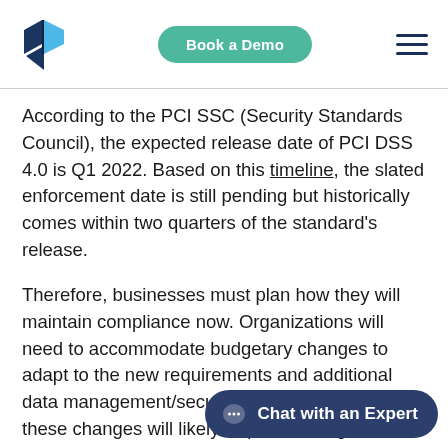Book a Demo
According to the PCI SSC (Security Standards Council), the expected release date of PCI DSS 4.0 is Q1 2022. Based on this timeline, the slated enforcement date is still pending but historically comes within two quarters of the standard's release.
Therefore, businesses must plan how they will maintain compliance now. Organizations will need to accommodate budgetary changes to adapt to the new requirements and additional data management/security testing. Executing on these changes will likely require staffing changes, new tools and data discovery solutions and organization-wide training effo...